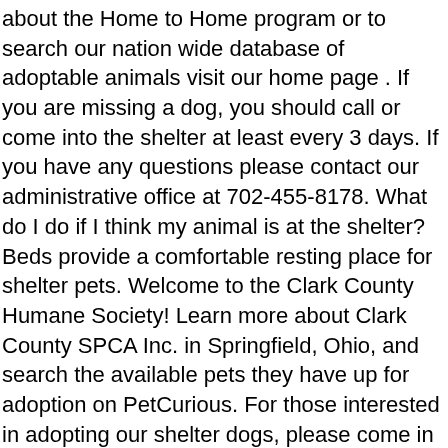about the Home to Home program or to search our nation wide database of adoptable animals visit our home page . If you are missing a dog, you should call or come into the shelter at least every 3 days. If you have any questions please contact our administrative office at 702-455-8178. What do I do if I think my animal is at the shelter? Beds provide a comfortable resting place for shelter pets. Welcome to the Clark County Humane Society! Learn more about Clark County SPCA Inc. in Springfield, Ohio, and search the available pets they have up for adoption on PetCurious. For those interested in adopting our shelter dogs, please come in to the Clark County Dog Shelter at 5201 Urbana Road, Springfield, OH 45502. Animal shelters and rescues similar to Animal Welfare League serving Clark County offer temporary places for pets that have been lost or abandoned. Our vision is to be a valuable resource for the Hamilton County, Ohio community – reuniting lost companion pets, reducing the stray population, offering opportunities for unwanted animals to be adopted or rescued and providing the public with information and programs for